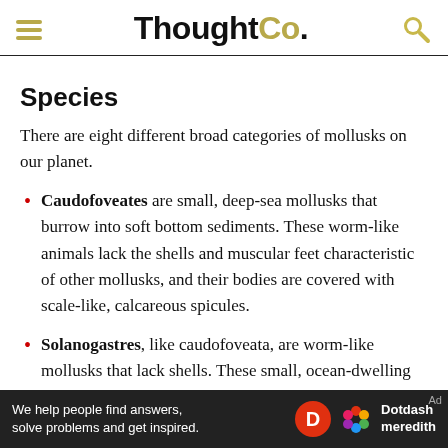ThoughtCo.
Species
There are eight different broad categories of mollusks on our planet.
Caudofoveates are small, deep-sea mollusks that burrow into soft bottom sediments. These worm-like animals lack the shells and muscular feet characteristic of other mollusks, and their bodies are covered with scale-like, calcareous spicules.
Solanogastres, like caudofoveata, are worm-like mollusks that lack shells. These small, ocean-dwelling animals are mostly blind, and either flattened or
We help people find answers, solve problems and get inspired. Dotdash meredith